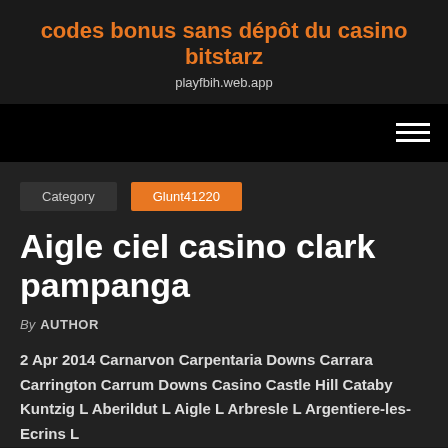codes bonus sans dépôt du casino bitstarz
playfbih.web.app
Category   Glunt41220
Aigle ciel casino clark pampanga
By AUTHOR
2 Apr 2014 Carnarvon Carpentaria Downs Carrara Carrington Carrum Downs Casino Castle Hill Cataby Kuntzig L Aberildut L Aigle L Arbresle L Argentiere-les-Ecrins L